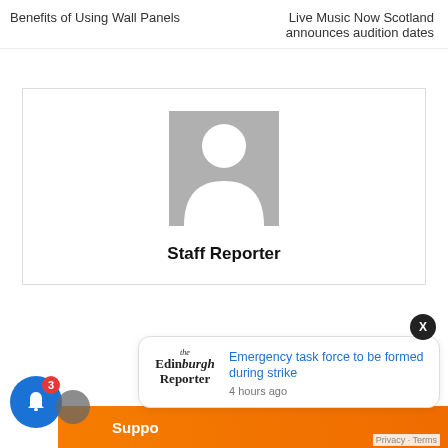Benefits of Using Wall Panels
Live Music Now Scotland announces audition dates
[Figure (illustration): Author profile box with grey silhouette placeholder avatar and bold text 'Staff Reporter' below it, inside a bordered box]
Staff Reporter
[Figure (other): Notification popup showing Edinburgh Reporter logo, headline 'Emergency task force to be formed during strike', and '4 hours ago' timestamp. Includes close X button.]
Emergency task force to be formed during strike
4 hours ago
Suppo
Privacy · Terms